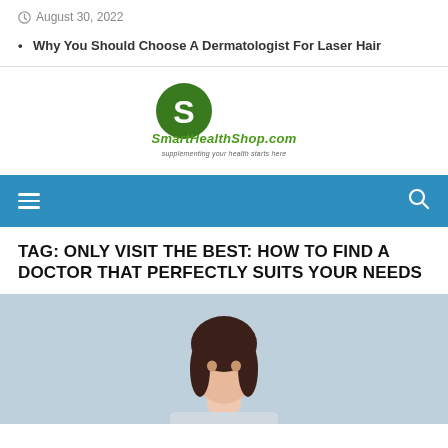August 30, 2022
Why You Should Choose A Dermatologist For Laser Hair
[Figure (logo): SmartHealthShop.com logo with green circle and S icon, tagline: supplementing your health starts here]
TAG: ONLY VISIT THE BEST: HOW TO FIND A DOCTOR THAT PERFECTLY SUITS YOUR NEEDS
[Figure (photo): Photo of a brunette woman from shoulders up against a light blue/grey background]